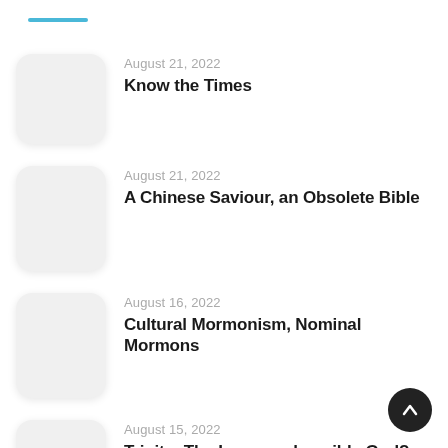August 21, 2022 — Know the Times
August 21, 2022 — A Chinese Saviour, an Obsolete Bible
August 16, 2022 — Cultural Mormonism, Nominal Mormons
August 15, 2022 — Trinity: The Incomprehensible God?